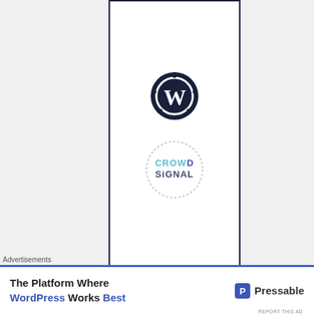[Figure (logo): WordPress logo (W in circle, dark navy) and Crowdsignal logo (dotted circle with CROWD SIGNAL text in teal/blue) displayed inside a bordered advertisement box]
REPORT THIS AD
RECENT POSTS
Solitude, my old friend.
Advertisements
[Figure (logo): Pressable advertisement banner: 'The Platform Where WordPress Works Best' with Pressable logo]
REPORT THIS AD